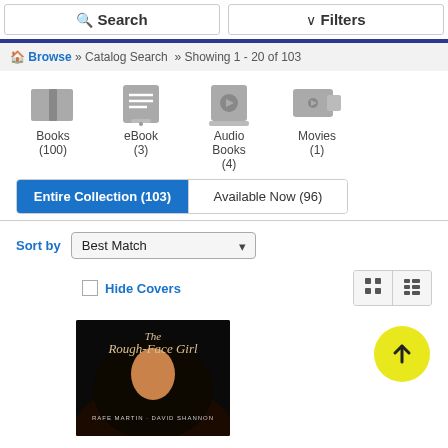Search   Filters
Browse » Catalog Search » Showing 1 - 20 of 103
[Figure (screenshot): Media type icons: Books (100), eBook (3), Audio Books (4), Movies (1)]
Entire Collection (103)   Available Now (96)
Sort by   Best Match
Hide Covers
[Figure (photo): Book cover: The Rough-Face Girl by Rafe Martin and David Shannon]